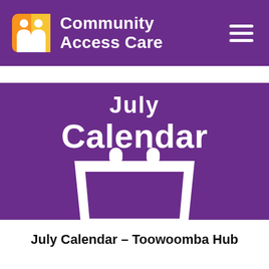Community Access Care
[Figure (illustration): July Calendar banner image with white 'July Calendar' handwritten-style text and a white calendar icon on a purple background]
July Calendar – Toowoomba Hub